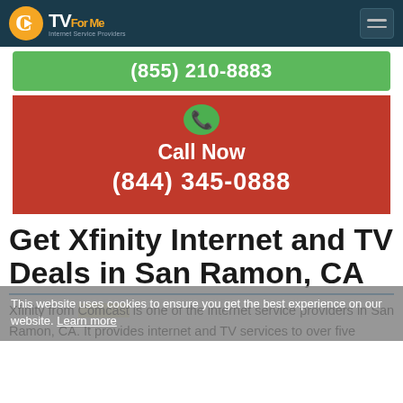CTV For Me - Internet Service Providers
(855) 210-8883
Call Now
(844) 345-0888
Get Xfinity Internet and TV Deals in San Ramon, CA
This website uses cookies to ensure you get the best experience on our website. Learn more
Xfinity from Comcast is one of the internet service providers in San Ramon, CA. It provides internet and TV services to over five